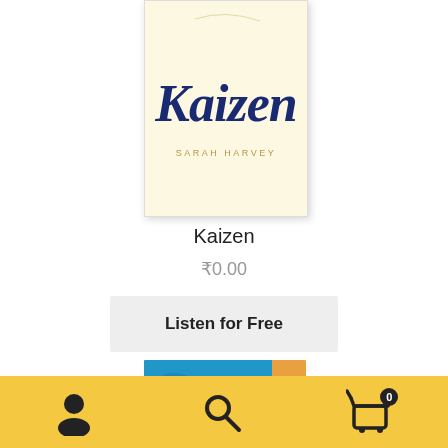[Figure (illustration): Book cover of 'Kaizen' by Sarah Harvey, cream/yellow background with dark navy blue handwritten-style title text and author name in gold serif capitals]
Kaizen
₹0.00
Listen for Free
[Figure (illustration): Partial view of another audiobook cover - Nightingale Conant, blue and orange colors]
Navigation bar with user icon, search icon, and shopping cart icon with badge '0'